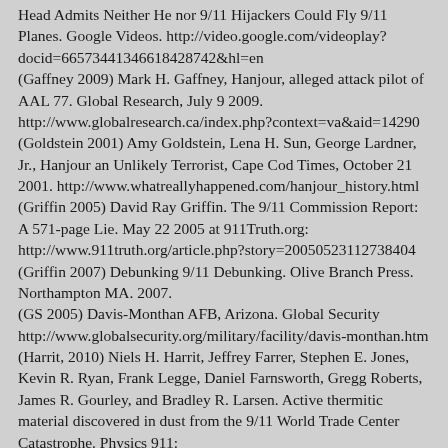Head Admits Neither He nor 9/11 Hijackers Could Fly 9/11 Planes. Google Videos. http://video.google.com/videoplay?docid=66573441346618428742&hl=en
(Gaffney 2009) Mark H. Gaffney, Hanjour, alleged attack pilot of AAL 77. Global Research, July 9 2009. http://www.globalresearch.ca/index.php?context=va&aid=14290
(Goldstein 2001) Amy Goldstein, Lena H. Sun, George Lardner, Jr., Hanjour an Unlikely Terrorist, Cape Cod Times, October 21 2001. http://www.whatreallyhappened.com/hanjour_history.html
(Griffin 2005) David Ray Griffin. The 9/11 Commission Report: A 571-page Lie. May 22 2005 at 911Truth.org: http://www.911truth.org/article.php?story=20050523112738404
(Griffin 2007) Debunking 9/11 Debunking. Olive Branch Press. Northampton MA. 2007.
(GS 2005) Davis-Monthan AFB, Arizona. Global Security http://www.globalsecurity.org/military/facility/davis-monthan.htm
(Harrit, 2010) Niels H. Harrit, Jeffrey Farrer, Stephen E. Jones, Kevin R. Ryan, Frank Legge, Daniel Farnsworth, Gregg Roberts, James R. Gourley, and Bradley R. Larsen. Active thermitic material discovered in dust from the 9/11 World Trade Center Catastrophe. Physics 911: